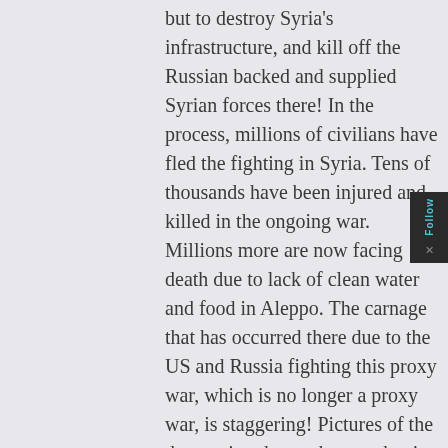but to destroy Syria’s infrastructure, and kill off the Russian backed and supplied Syrian forces there! In the process, millions of civilians have fled the fighting in Syria. Tens of thousands have been injured and killed in the ongoing war. Millions more are now facing death due to lack of clean water and food in Aleppo. The carnage that has occurred there due to the US and Russia fighting this proxy war, which is no longer a proxy war, is staggering! Pictures of the destruction due to the war that is going on over there now, and the death and devastation that has occurred, and is occurring, are viewable on Yahoo or Google. Images of what is going on in Ukraine can be viewed as well. The war drums are beating louder and louder! Is it only a matter of time until the war over there becomes the war over here? The preparations to fight the war over here have already been made. Why do you think they’ve had all these military “exercises” and emergency “drills” over here in the US the last couple